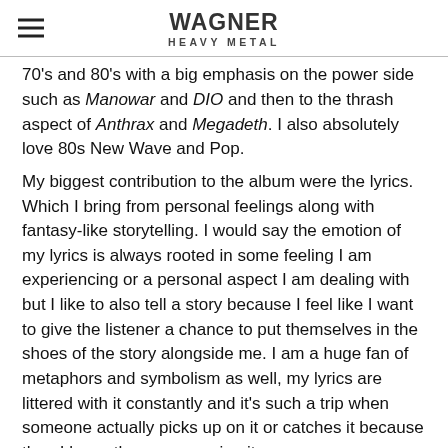Wagner Heavy Metal
70's and 80's with a big emphasis on the power side such as Manowar and DIO and then to the thrash aspect of Anthrax and Megadeth. I also absolutely love 80s New Wave and Pop.
My biggest contribution to the album were the lyrics. Which I bring from personal feelings along with fantasy-like storytelling. I would say the emotion of my lyrics is always rooted in some feeling I am experiencing or a personal aspect I am dealing with but I like to also tell a story because I feel like I want to give the listener a chance to put themselves in the shoes of the story alongside me. I am a huge fan of metaphors and symbolism as well, my lyrics are littered with it constantly and it's such a trip when someone actually picks up on it or catches it because then I know they were seeing it